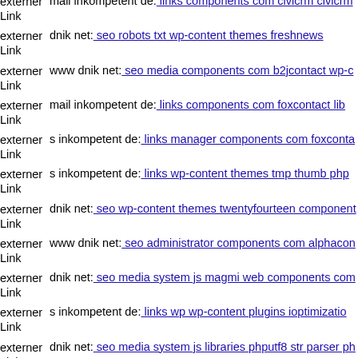externer Link  mail inkompetent de: links components com civicrm civicrm
externer Link  dnik net: seo robots txt wp-content themes freshnews
externer Link  www dnik net: seo media components com b2jcontact wp-c
externer Link  mail inkompetent de: links components com foxcontact lib
externer Link  s inkompetent de: links manager components com foxconta
externer Link  s inkompetent de: links wp-content themes tmp thumb php
externer Link  dnik net: seo wp-content themes twentyfourteen component
externer Link  www dnik net: seo administrator components com alphacon
externer Link  dnik net: seo media system js magmi web components com
externer Link  s inkompetent de: links wp wp-content plugins ioptimizatio
externer Link  dnik net: seo media system js libraries phputf8 str parser ph
externer  Anzahl von GENUTZTEN internen Verbindungen: 3958